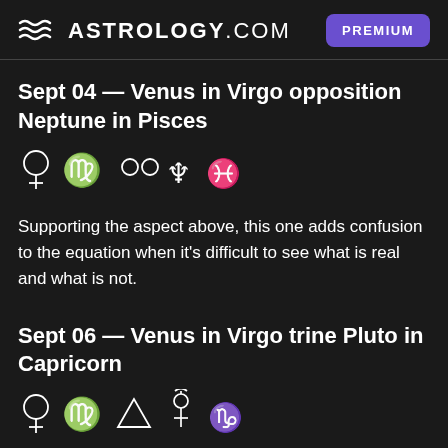≋ ASTROLOGY.COM  PREMIUM
Sept 04 — Venus in Virgo opposition Neptune in Pisces
[Figure (illustration): Astrological symbols: Venus, Virgo, opposition, Neptune, Pisces]
Supporting the aspect above, this one adds confusion to the equation when it's difficult to see what is real and what is not.
Sept 06 — Venus in Virgo trine Pluto in Capricorn
[Figure (illustration): Astrological symbols: Venus, Virgo, trine, Pluto, Capricorn]